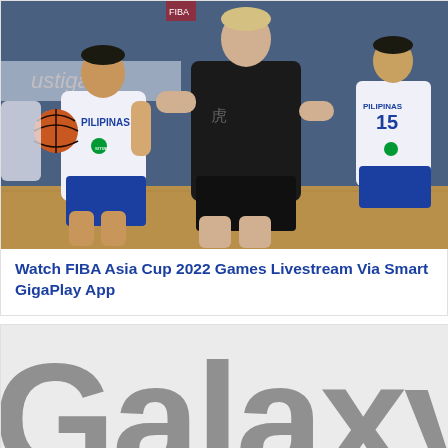[Figure (photo): Basketball game photo: Philippines (Pilipinas) players in white and blue uniforms competing against players in black uniforms, one player holding a basketball, Smart GigaPlay sponsors visible on jerseys, indoor court setting.]
Watch FIBA Asia Cup 2022 Games Livestream Via Smart GigaPlay App
[Figure (photo): Partial view of Samsung Galaxy branding/logo in large dark letters on a light gray background, showing lower portion of the text 'Galaxy'.]